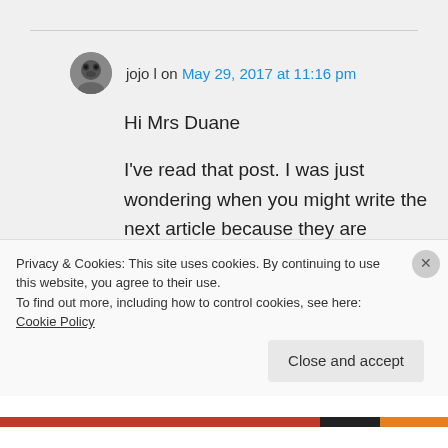jojo l on May 29, 2017 at 11:16 pm
Hi Mrs Duane

I've read that post. I was just wondering when you might write the next article because they are excellent.

As dark as things seem, I believe
Privacy & Cookies: This site uses cookies. By continuing to use this website, you agree to their use.
To find out more, including how to control cookies, see here: Cookie Policy
Close and accept